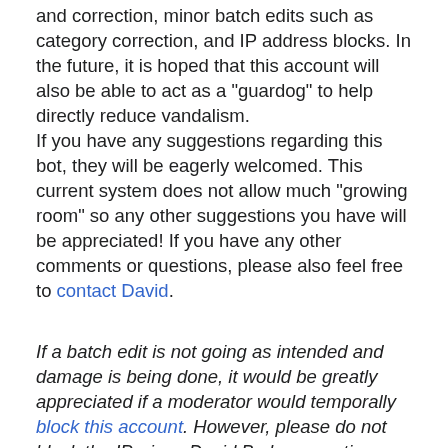and correction, minor batch edits such as category correction, and IP address blocks. In the future, it is hoped that this account will also be able to act as a "guardog" to help directly reduce vandalism.
If you have any suggestions regarding this bot, they will be eagerly welcomed. This current system does not allow much "growing room" so any other suggestions you have will be appreciated! If you have any other comments or questions, please also feel free to contact David.
If a batch edit is not going as intended and damage is being done, it would be greatly appreciated if a moderator would temporally block this account. However, please do not block the IP, since David B also sometimes connects from the same network address.